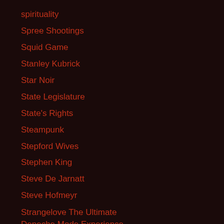spirituality
Spree Shootings
Squid Game
Stanley Kubrick
Star Noir
State Legislature
State's Rights
Steampunk
Stepford Wives
Stephen King
Steve De Jarnatt
Steve Hofmeyr
Strangelove The Ultimate Depeche Mode Experience
Stranger Things